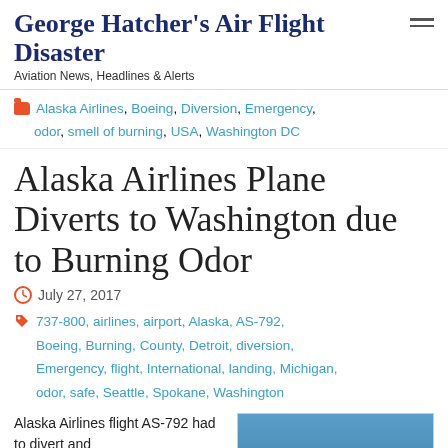George Hatcher's Air Flight Disaster — Aviation News, Headlines & Alerts
Alaska Airlines, Boeing, Diversion, Emergency, odor, smell of burning, USA, Washington DC
Alaska Airlines Plane Diverts to Washington due to Burning Odor
July 27, 2017
737-800, airlines, airport, Alaska, AS-792, Boeing, Burning, County, Detroit, diversion, Emergency, flight, International, landing, Michigan, odor, safe, Seattle, Spokane, Washington
Alaska Airlines flight AS-792 had to divert and